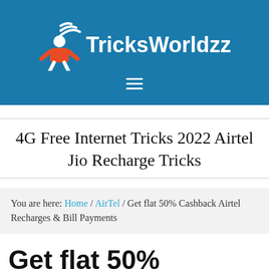TricksWorldzz
4G Free Internet Tricks 2022 Airtel Jio Recharge Tricks
You are here: Home / AirTel / Get flat 50% Cashback Airtel Recharges & Bill Payments
Get flat 50% Cashback Airtel